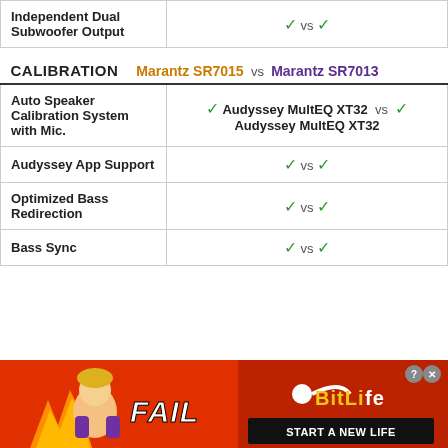| Feature | Marantz SR7015 vs Marantz SR7013 |
| --- | --- |
| Independent Dual Subwoofer Output | ✓ vs ✓ |
| CALIBRATION | Marantz SR7015 vs Marantz SR7013 |
| Auto Speaker Calibration System with Mic. | ✓ Audyssey MultEQ XT32 vs ✓ Audyssey MultEQ XT32 |
| Audyssey App Support | ✓ vs ✓ |
| Optimized Bass Redirection | ✓ vs ✓ |
| Bass Sync | ✓ vs ✓ |
[Figure (photo): Advertisement banner for BitLife mobile game showing FAIL text with cartoon character, fire imagery, and 'START A NEW LIFE' tagline on red background]